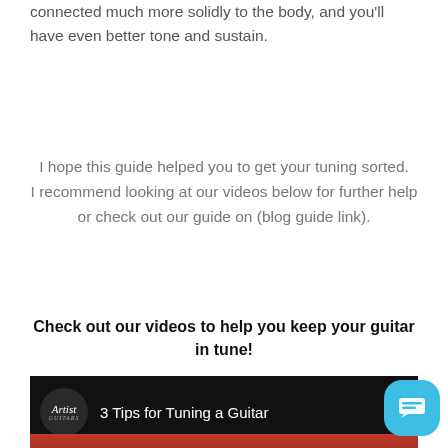connected much more solidly to the body, and you'll have even better tone and sustain.
I hope this guide helped you to get your tuning sorted. I recommend looking at our videos below for further help or check out our guide on (blog guide link).
Check out our videos to help you keep your guitar in tune!
[Figure (screenshot): Video thumbnail showing Artist Guitars logo and title '3 Tips for Tuning a Guitar' on a dark background with a red image strip at the bottom.]